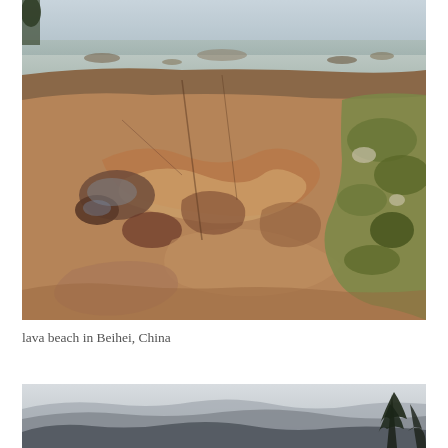[Figure (photo): Photograph of a lava beach in Beihei, China showing layered volcanic rock formations with swirling patterns of brown and tan with mossy green rocks on the right side and a shallow coastal water area visible in the background under an overcast sky.]
lava beach in Beihei, China
[Figure (photo): Partial photograph showing misty mountain landscape with silhouetted conifer trees on the right side and mountain ridges fading into hazy sky.]